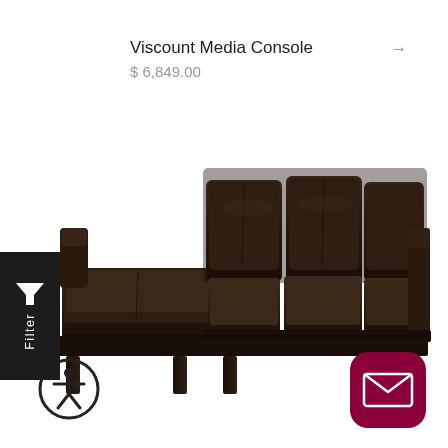Viscount Media Console
$ 6,849.00
[Figure (photo): Dark brown/black leather sectional sofa with chaise lounge on the left side, three seat cushions, clean modern design with dark wood legs, photographed on white background]
[Figure (other): Filter button with funnel icon and vertical 'Filter' text on dark background]
[Figure (other): Accessibility icon - circular button with human figure symbol]
[Figure (other): Mail/envelope icon button with dark red/crimson rounded square background]